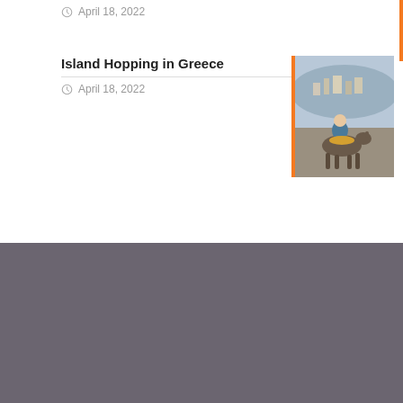April 18, 2022
Island Hopping in Greece
April 18, 2022
[Figure (photo): Photo of people riding a donkey in Greece, with a harbor town visible in the background. Orange left border accent.]
QuickTrips
Asia
Australia
Caribbean
Central America
Europe
Mexico